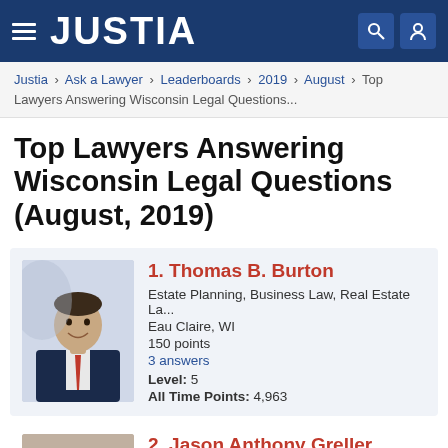JUSTIA
Justia › Ask a Lawyer › Leaderboards › 2019 › August › Top Lawyers Answering Wisconsin Legal Questions...
Top Lawyers Answering Wisconsin Legal Questions (August, 2019)
1. Thomas B. Burton
Estate Planning, Business Law, Real Estate La...
Eau Claire, WI
150 points
3 answers
Level: 5
All Time Points: 4,963
2. Jason Anthony Greller
Real Estate Law, Landlord Tenant